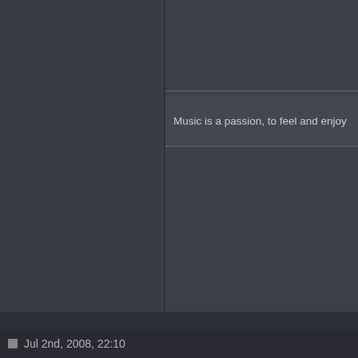[Figure (screenshot): Dark-themed application UI screenshot with a left panel, a right panel area, and a tooltip/text box showing the text 'Music is a passion, to feel and enjoy i' (truncated). The interface has a dark gray color scheme with panel dividers.]
Music is a passion, to feel and enjoy i
Jul 2nd, 2008, 22:10